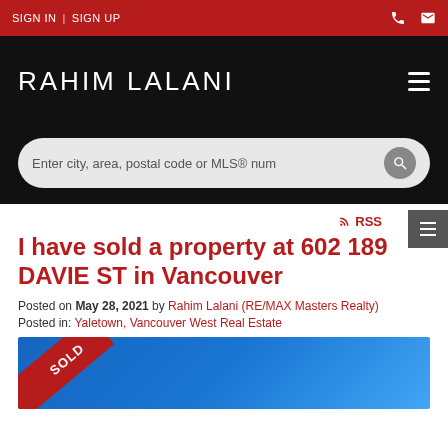SIGN IN | SIGN UP
RAHIM LALANI
Enter city, area, postal code or MLS® num
RSS
I have sold a property at 602 189 DAVIE ST in Vancouver
Posted on May 28, 2021 by Rahim Lalani (RE/MAX Masters Realty)
Posted in: Yaletown, Vancouver West Real Estate
[Figure (photo): Property photo with SOLD ribbon banner over a blue background]